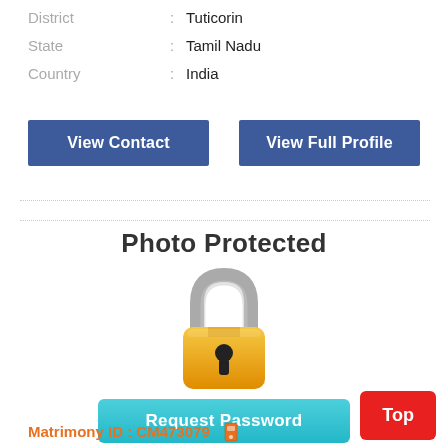District : Tuticorin
State : Tamil Nadu
Country : India
View Contact
View Full Profile
[Figure (illustration): Photo Protected padlock illustration with 'Request Password' cyan button and login/register text]
Please login / register to view female photos
Matrimony ID : CM473079